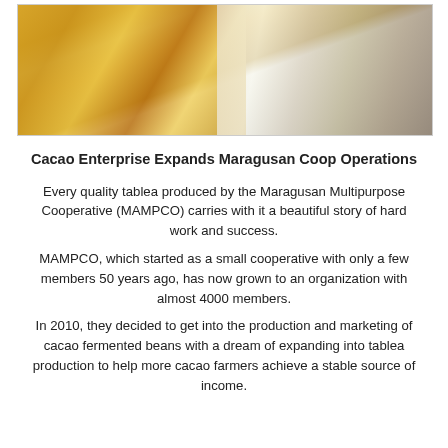[Figure (photo): Two workers in yellow shirts and white aprons working with cacao/tablea products at a table]
Cacao Enterprise Expands Maragusan Coop Operations
Every quality tablea produced by the Maragusan Multipurpose Cooperative (MAMPCO) carries with it a beautiful story of hard work and success.
MAMPCO, which started as a small cooperative with only a few members 50 years ago, has now grown to an organization with almost 4000 members.
In 2010, they decided to get into the production and marketing of cacao fermented beans with a dream of expanding into tablea production to help more cacao farmers achieve a stable source of income.